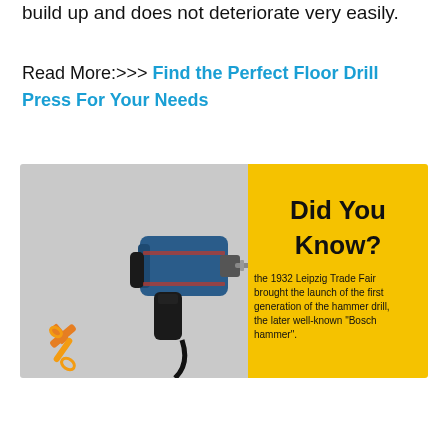build up and does not deteriorate very easily.
Read More:>>> Find the Perfect Floor Drill Press For Your Needs
[Figure (infographic): Did You Know infographic showing a blue hammer drill on grey background with yellow panel. Text: 'Did You Know? the 1932 Leipzig Trade Fair brought the launch of the first generation of the hammer drill, the later well-known "Bosch hammer".' Small tools icon in bottom left corner.]